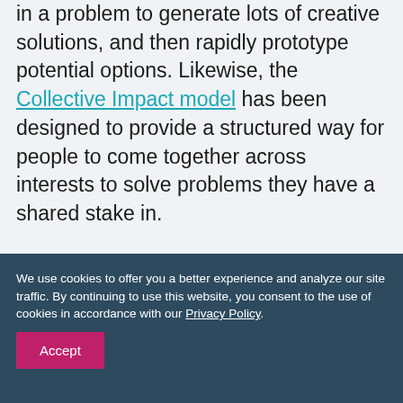in a problem to generate lots of creative solutions, and then rapidly prototype potential options. Likewise, the Collective Impact model has been designed to provide a structured way for people to come together across interests to solve problems they have a shared stake in.
We use cookies to offer you a better experience and analyze our site traffic. By continuing to use this website, you consent to the use of cookies in accordance with our Privacy Policy.
Accept